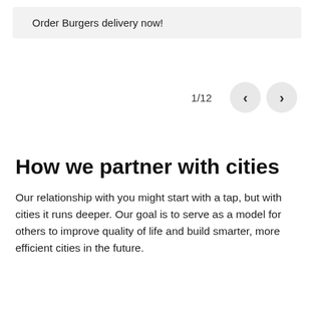Order Burgers delivery now!
1/12
How we partner with cities
Our relationship with you might start with a tap, but with cities it runs deeper. Our goal is to serve as a model for others to improve quality of life and build smarter, more efficient cities in the future.